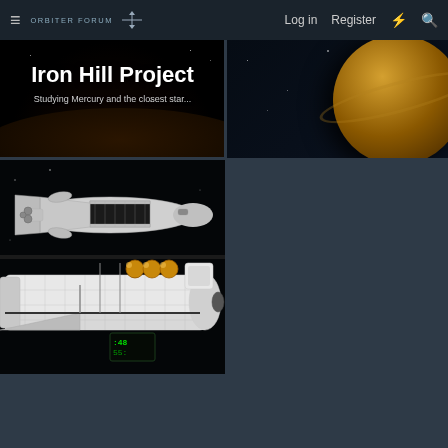≡ ORBITER FORUM   Log in   Register   ⚡   🔍
Iron Hill Project
Studying Mercury and the closest star...
[Figure (screenshot): Dark space background with planet surface, backdrop for Iron Hill Project card]
[Figure (screenshot): Saturn-like planet visible against dark space background, top right card]
[Figure (photo): Space Shuttle orbiter 3D render / simulation screenshot showing top-down and side view with payload bay open, golden spheres visible, green display panel on lower right]